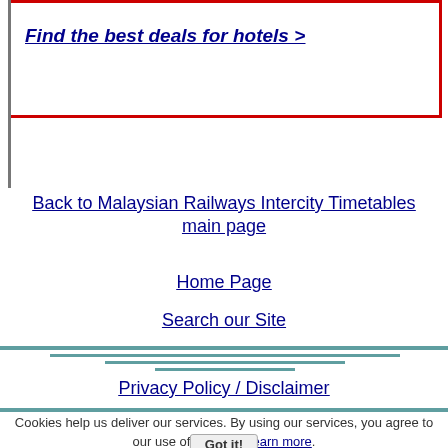Find the best deals for hotels >
Back to Malaysian Railways Intercity Timetables main page
Home Page
Search our Site
Privacy Policy / Disclaimer
Cookies help us deliver our services. By using our services, you agree to our use of cookies. Learn more.
Got it!